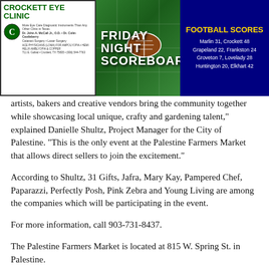[Figure (logo): Crockett Eye Clinic advertisement with green text logo and doctor names, clinic address]
[Figure (infographic): Friday Night Scoreboard banner on green football field background]
[Figure (infographic): Football Scores box: Marlin 31 Crockett 48, Grapeland 22 Frankston 24, Groveton 7 Lovelady 28, Huntington 20 Elkhart 42]
artists, bakers and creative vendors bring the community together while showcasing local unique, crafty and gardening talent," explained Danielle Shultz, Project Manager for the City of Palestine. "This is the only event at the Palestine Farmers Market that allows direct sellers to join the excitement."
According to Shultz, 31 Gifts, Jafra, Mary Kay, Pampered Chef, Paparazzi, Perfectly Posh, Pink Zebra and Young Living are among the companies which will be participating in the event.
For more information, call 903-731-8437.
The Palestine Farmers Market is located at 815 W. Spring St. in Palestine.